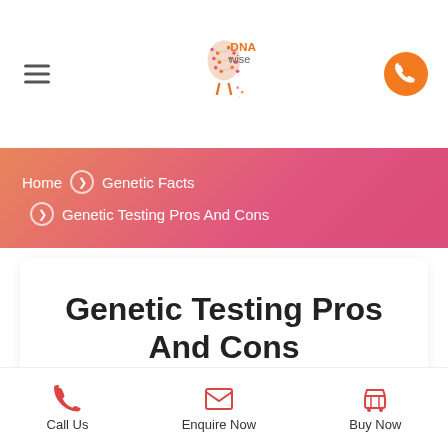[Figure (logo): DNAwise logo with stylized DNA strand and ostrich figure]
Home › Genetic Facts › Genetic Testing Pros And Cons
Genetic Testing Pros And Cons
Call Us   Enquire Now   Buy Now